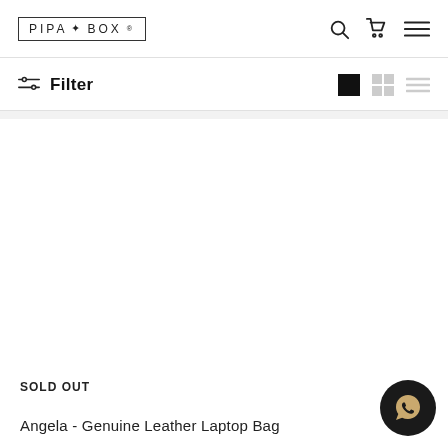PIPABOX
Filter
SOLD OUT
Angela - Genuine Leather Laptop Bag